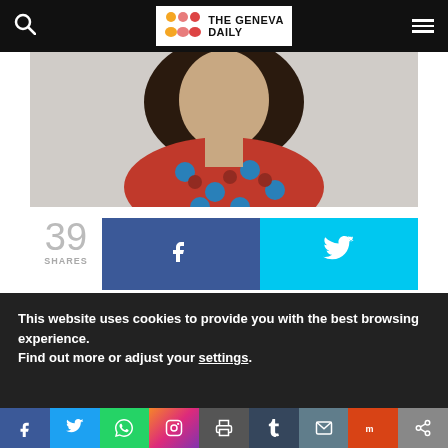The Geneva Daily
[Figure (photo): Person with long dark hair wearing a red and blue polka dot shirt, upper body visible]
39 SHARES
[Figure (infographic): Facebook share button (blue) and Twitter share button (cyan)]
Advertisement
This website uses cookies to provide you with the best browsing experience. Find out more or adjust your settings.
Social share bar: Facebook, Twitter, WhatsApp, Instagram, Print, Tumblr, Mail, Mix, Share